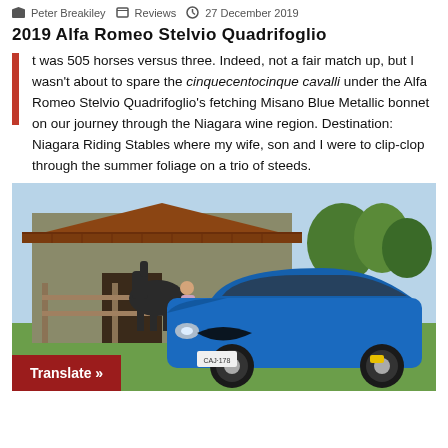Peter Breakiley   Reviews   27 December 2019
2019 Alfa Romeo Stelvio Quadrifoglio
It was 505 horses versus three. Indeed, not a fair match up, but I wasn't about to spare the cinquecentocinque cavalli under the Alfa Romeo Stelvio Quadrifoglio's fetching Misano Blue Metallic bonnet on our journey through the Niagara wine region. Destination: Niagara Riding Stables where my wife, son and I were to clip-clop through the summer foliage on a trio of steeds.
[Figure (photo): A blue Alfa Romeo Stelvio Quadrifoglio SUV parked on grass in front of a rustic barn, with a dark horse visible behind a fence in the background. A 'Translate »' button is overlaid at the bottom left.]